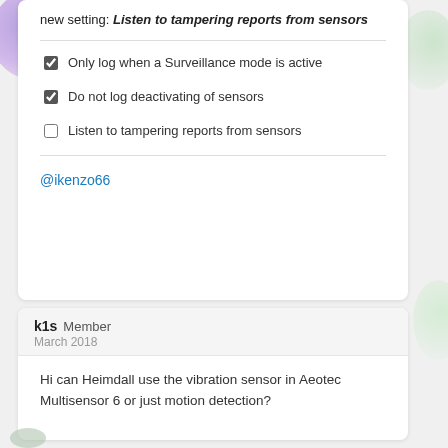new setting: Listen to tampering reports from sensors
Only log when a Surveillance mode is active
Do not log deactivating of sensors
Listen to tampering reports from sensors
@ikenzo66
k1s Member
March 2018
Hi can Heimdall use the vibration sensor in Aeotec Multisensor 6 or just motion detection?